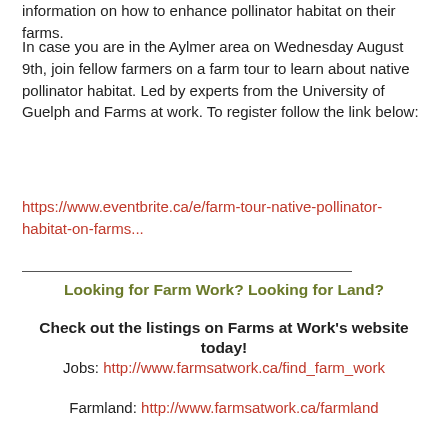information on how to enhance pollinator habitat on their farms.
In case you are in the Aylmer area on Wednesday August 9th, join fellow farmers on a farm tour to learn about native pollinator habitat. Led by experts from the University of Guelph and Farms at work. To register follow the link below:
https://www.eventbrite.ca/e/farm-tour-native-pollinator-habitat-on-farms...
Looking for Farm Work? Looking for Land?
Check out the listings on Farms at Work's website today!
Jobs: http://www.farmsatwork.ca/find_farm_work
Farmland: http://www.farmsatwork.ca/farmland